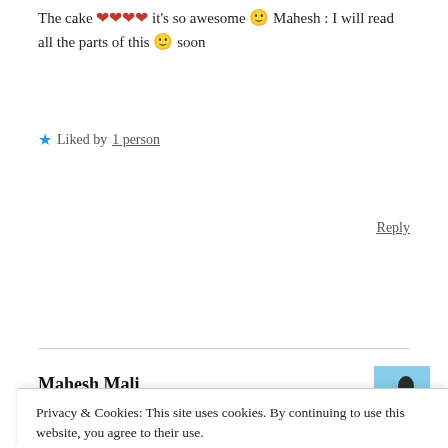The cake ❤️❤️❤️❤️ it's so awesome 🙂 Mahesh : I will read all the parts of this 🙂 soon
⭐ Liked by 1 person
Reply
Mahesh Mali
Privacy & Cookies: This site uses cookies. By continuing to use this website, you agree to their use.
To find out more, including how to control cookies, see here: Cookie Policy
Close and accept